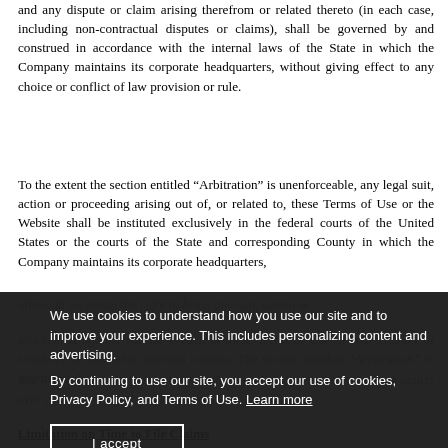and any dispute or claim arising therefrom or related thereto (in each case, including non-contractual disputes or claims), shall be governed by and construed in accordance with the internal laws of the State in which the Company maintains its corporate headquarters, without giving effect to any choice or conflict of law provision or rule.
To the extent the section entitled “Arbitration” is unenforceable, any legal suit, action or proceeding arising out of, or related to, these Terms of Use or the Website shall be instituted exclusively in the federal courts of the United States or the courts of the State and corresponding County in which the Company maintains its corporate headquarters,
although we retain the right to bring any suit, action or proceeding against you for breach of these Terms of Use in your country of residence or any other relevant country. The section entitled “Arbitration” is unenforceable. You waive any and all objections to the exercise of jurisdiction by such courts over you and to venue in such courts.
We use cookies to understand how you use our site and to improve your experience. This includes personalizing content and advertising. By continuing to use our site, you accept our use of cookies, Privacy Policy, and Terms of Use. Learn more
Limitation on Time to File Claims